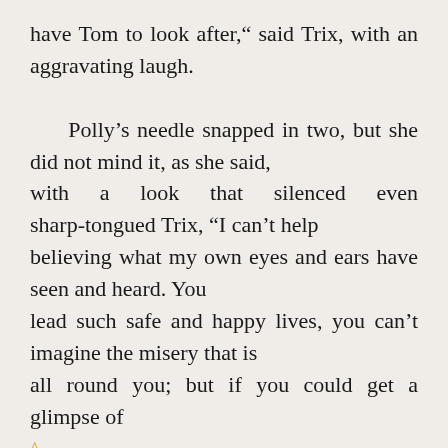have Tom to look after," said Trix, with an aggravating laugh.

    Polly’s needle snapped in two, but she did not mind it, as she said, with a look that silenced even sharp-tongued Trix, "I can’t help believing what my own eyes and ears have seen and heard. You lead such safe and happy lives, you can’t imagine the misery that is all round you; but if you could get a glimpse of it, it would make